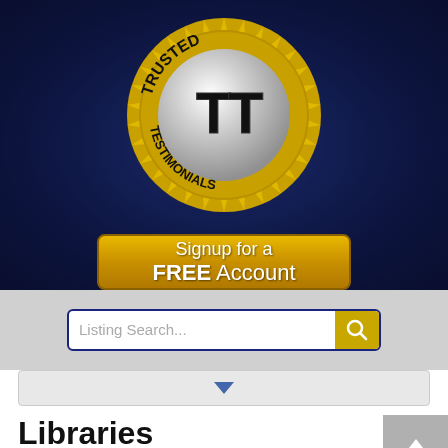[Figure (logo): Trusted Testimonials logo seal — gold sunburst border, silver inner circle, bold black TT letters, text 'TRUSTED' on top arc and 'TESTIMONIALS' on bottom arc]
[Figure (screenshot): Gold button with white text 'Signup for a FREE Account']
[Figure (screenshot): Search bar with placeholder text 'Listing Search...' and a gold magnifying glass button, on a grey background]
[Figure (screenshot): Grey dropdown bar with a blue arrow pointing downward]
Libraries
No entries were found